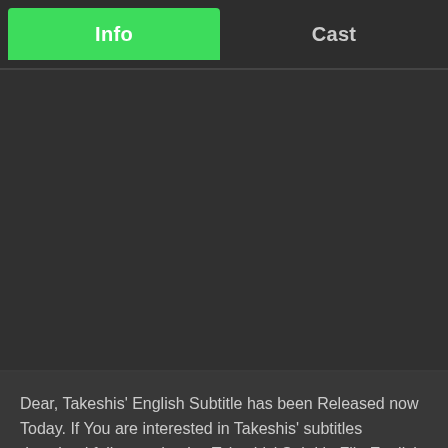Info | Cast
[Figure (screenshot): Dark background content area, empty]
Dear, Takeshis' English Subtitle has been Released now Today. If You are interested in Takeshis' subtitles download follow and enjoy Takeshis' Subtitle File English SRT. We